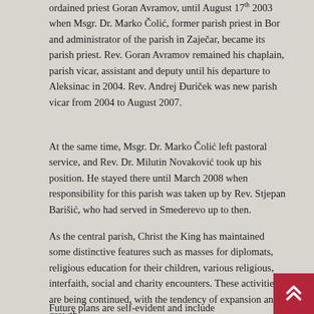ordained priest Goran Avramov, until August 17th 2003 when Msgr. Dr. Marko Čolić, former parish priest in Bor and administrator of the parish in Zaječar, became its parish priest. Rev. Goran Avramov remained his chaplain, parish vicar, assistant and deputy until his departure to Aleksinac in 2004. Rev. Andrej Đuriček was new parish vicar from 2004 to August 2007.
At the same time, Msgr. Dr. Marko Čolić left pastoral service, and Rev. Dr. Milutin Novaković took up his position. He stayed there until March 2008 when responsibility for this parish was taken up by Rev. Stjepan Barišić, who had served in Smederevo up to then.
As the central parish, Christ the King has maintained some distinctive features such as masses for diplomats, religious education for their children, various religious, interfaith, social and charity encounters. These activities are being continued, with the tendency of expansion and growth.
Future plans are self-evident and include